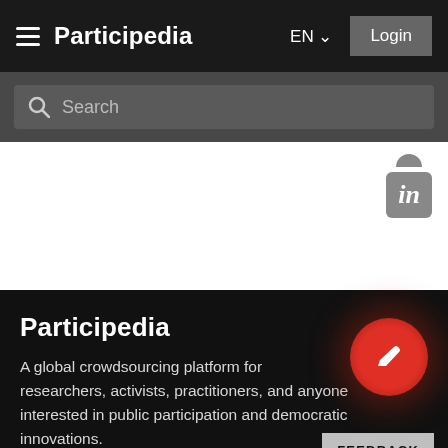Participedia
[Figure (screenshot): Search bar with magnifying glass icon and 'Search' placeholder text on dark background]
[Figure (logo): LinkedIn icon (rounded square with 'in' text) in gray, with partial circle above]
Participedia
A global crowdsourcing platform for researchers, activists, practitioners, and anyone interested in public participation and democratic innovations.
[Figure (infographic): Red circle button with pencil/edit icon, with red glow effect]
FEEDBACK